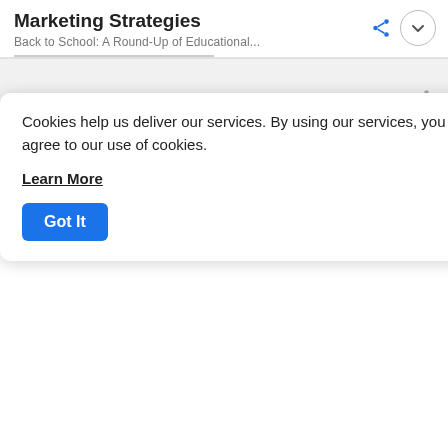Marketing Strategies
Back to School: A Round-Up of Educational...
[Figure (screenshot): Gray banner area with share icon on right]
Dana Allan launched her channel back in 2014, she started off by sharing DIY and Lifestyle tips. Now, her channel focuses on offering advice to students to help
Cookies help us deliver our services. By using our services, you agree to our use of cookies.

Learn More

Got It